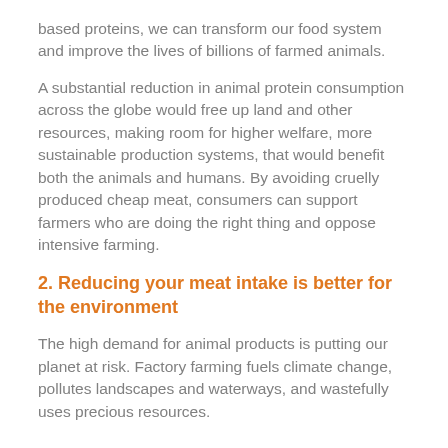based proteins, we can transform our food system and improve the lives of billions of farmed animals.
A substantial reduction in animal protein consumption across the globe would free up land and other resources, making room for higher welfare, more sustainable production systems, that would benefit both the animals and humans. By avoiding cruelly produced cheap meat, consumers can support farmers who are doing the right thing and oppose intensive farming.
2. Reducing your meat intake is better for the environment
The high demand for animal products is putting our planet at risk. Factory farming fuels climate change, pollutes landscapes and waterways, and wastefully uses precious resources.